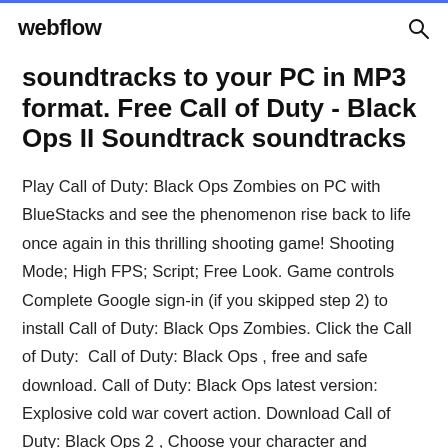webflow
soundtracks to your PC in MP3 format. Free Call of Duty - Black Ops II Soundtrack soundtracks
Play Call of Duty: Black Ops Zombies on PC with BlueStacks and see the phenomenon rise back to life once again in this thrilling shooting game! Shooting Mode; High FPS; Script; Free Look. Game controls Complete Google sign-in (if you skipped step 2) to install Call of Duty: Black Ops Zombies. Click the Call of Duty:  Call of Duty: Black Ops , free and safe download. Call of Duty: Black Ops latest version: Explosive cold war covert action. Download Call of Duty: Black Ops 2 , Choose your character and